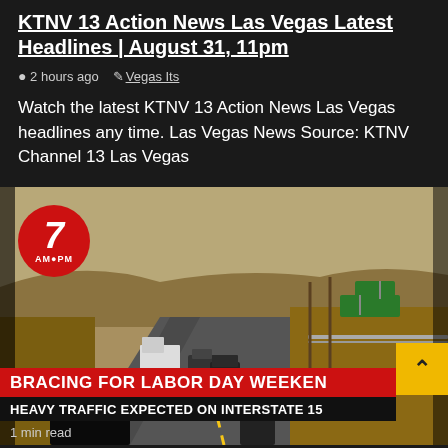KTNV 13 Action News Las Vegas Latest Headlines | August 31, 11pm
2 hours ago   Vegas Its
Watch the latest KTNV 13 Action News Las Vegas headlines any time. Las Vegas News Source: KTNV Channel 13 Las Vegas
[Figure (screenshot): News broadcast screenshot showing highway traffic on Interstate 15 with chyron text 'BRACING FOR LABOR DAY WEEKEN' and 'HEAVY TRAFFIC EXPECTED ON INTERSTATE 15'. A 7 AM/PM logo in a red circle is visible top left. A yellow scroll-up button is at bottom right. '1 min read' label at bottom left.]